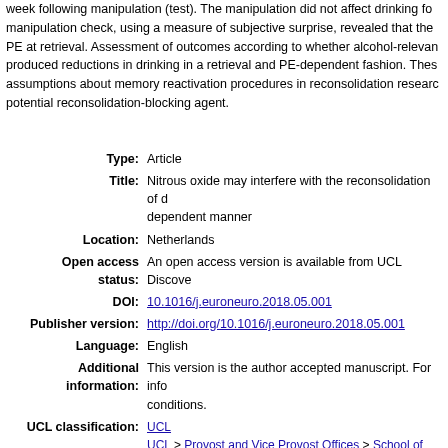week following manipulation (test). The manipulation did not affect drinking for manipulation check, using a measure of subjective surprise, revealed that the PE at retrieval. Assessment of outcomes according to whether alcohol-relevan produced reductions in drinking in a retrieval and PE-dependent fashion. These assumptions about memory reactivation procedures in reconsolidation researc potential reconsolidation-blocking agent.
Type: Article
Title: Nitrous oxide may interfere with the reconsolidation of d dependent manner
Location: Netherlands
Open access status: An open access version is available from UCL Discover
DOI: 10.1016/j.euroneuro.2018.05.001
Publisher version: http://doi.org/10.1016/j.euroneuro.2018.05.001
Language: English
Additional information: This version is the author accepted manuscript. For info conditions.
UCL classification: UCL, UCL > Provost and Vice Provost Offices > School of Life, UCL > Provost and Vice Provost Offices > School of Life, UCL > Provost and Vice Provost Offices > School of Life, Psychology and Lang Sciences, UCL > Provost and Vice Provost Offices > School of Life, Psychology and Lang Sciences > Clinical, Edu and Hlth, UCL > Provost and Vice Provost Offices > School of Life